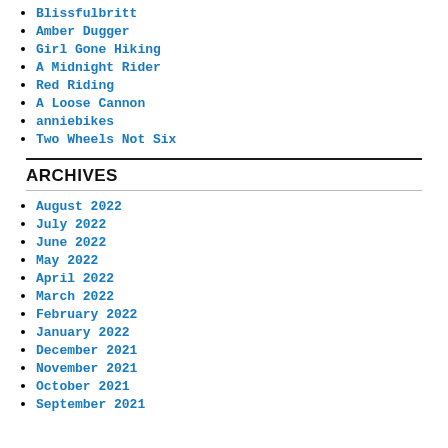Blissfulbritt
Amber Dugger
Girl Gone Hiking
A Midnight Rider
Red Riding
A Loose Cannon
anniebikes
Two Wheels Not Six
ARCHIVES
August 2022
July 2022
June 2022
May 2022
April 2022
March 2022
February 2022
January 2022
December 2021
November 2021
October 2021
September 2021